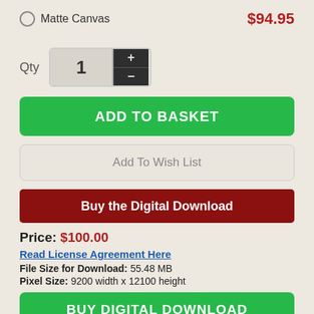Matte Canvas  $94.95
Qty  1
ADD TO BASKET
Add To Wish List
Buy the Digital Download
Price: $100.00
Read License Agreement Here
File Size for Download: 55.48 MB
Pixel Size: 9200 width x 12100 height
BUY DIGITAL DOWNLOAD